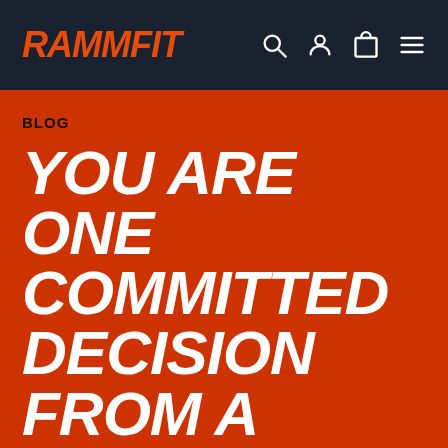RAMMFIT
BLOG
YOU ARE ONE COMMITTED DECISION FROM A TOTALLY DIFFERENT LIFE – RAMMFIT